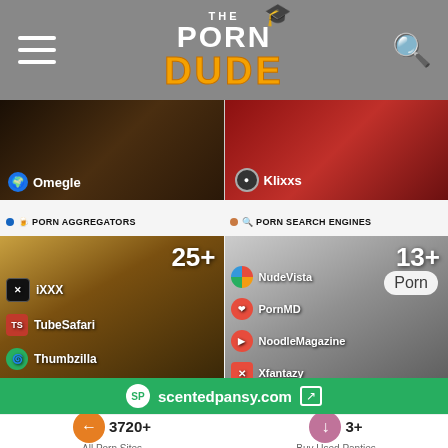The Porn Dude
[Figure (screenshot): Two thumbnail images side by side: left shows 'Omegle' label with dark background, right shows 'Klixxs' label with red background]
PORN AGGREGATORS
PORN SEARCH ENGINES
[Figure (screenshot): Porn Aggregators card showing 25+ sites including iXXX, TubeSafari, Thumbzilla, Fuq, PornKai]
[Figure (screenshot): Porn Search Engines card showing 13+ sites including NudeVista, PornMD, NoodleMagazine, Xfantazy, MyWape]
scentedpansy.com
3720+ All Porn Sites
3+ Buy Used Panties